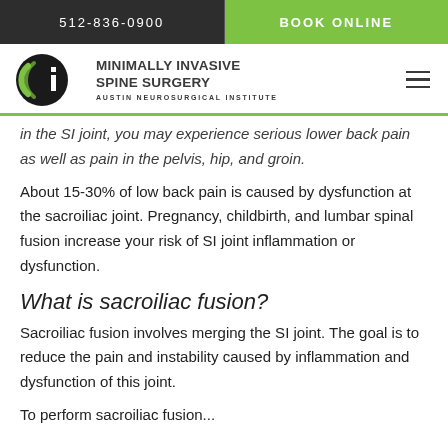512-836-0900   BOOK ONLINE
[Figure (logo): Austin Neurosurgical Institute logo with ANI emblem and text: MINIMALLY INVASIVE SPINE SURGERY, AUSTIN NEUROSURGICAL INSTITUTE]
in the SI joint, you may experience serious lower back pain as well as pain in the pelvis, hip, and groin.
About 15-30% of low back pain is caused by dysfunction at the sacroiliac joint. Pregnancy, childbirth, and lumbar spinal fusion increase your risk of SI joint inflammation or dysfunction.
What is sacroiliac fusion?
Sacroiliac fusion involves merging the SI joint. The goal is to reduce the pain and instability caused by inflammation and dysfunction of this joint.
To perform sacroiliac fusion...